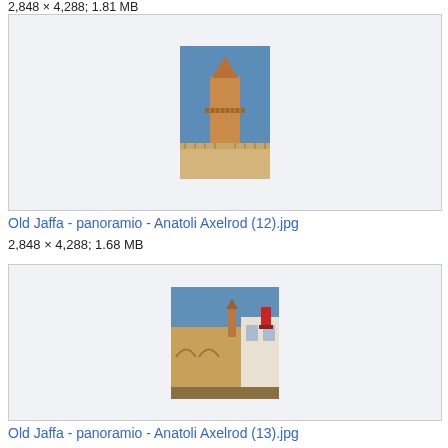2,848 × 4,288; 1.81 MB
[Figure (photo): Photo of a minaret tower against blue sky, Old Jaffa]
Old Jaffa - panoramio - Anatoli Axelrod (12).jpg
2,848 × 4,288; 1.68 MB
[Figure (photo): Photo of Old Jaffa buildings with minaret visible against blue sky]
Old Jaffa - panoramio - Anatoli Axelrod (13).jpg
4,288 × 2,848; 1.88 MB